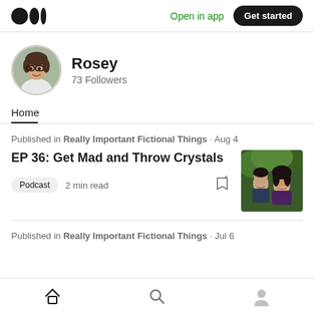Medium logo | Open in app | Get started
[Figure (photo): Medium logo with three circles]
Open in app
Get started
[Figure (photo): Rosey profile avatar photo - woman with glasses]
Rosey
73 Followers
Home
Published in Really Important Fictional Things · Aug 4
EP 36: Get Mad and Throw Crystals
[Figure (photo): Thumbnail showing two people, a man and woman, outdoors with greenery behind them]
Podcast   2 min read
Published in Really Important Fictional Things · Jul 6